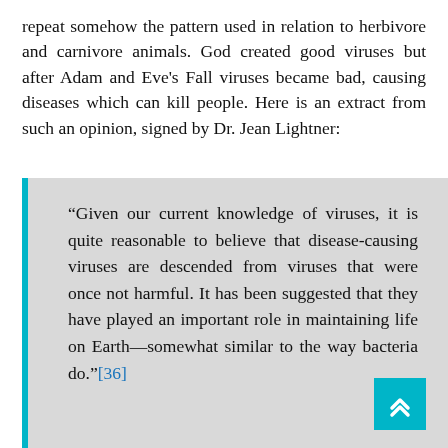repeat somehow the pattern used in relation to herbivore and carnivore animals. God created good viruses but after Adam and Eve's Fall viruses became bad, causing diseases which can kill people. Here is an extract from such an opinion, signed by Dr. Jean Lightner:
“Given our current knowledge of viruses, it is quite reasonable to believe that disease-causing viruses are descended from viruses that were once not harmful. It has been suggested that they have played an important role in maintaining life on Earth—somewhat similar to the way bacteria do.”[36]